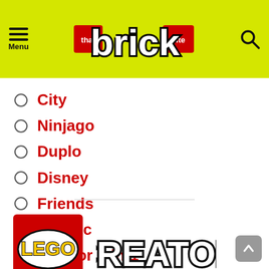that brick site — Navigation menu header
City
Ninjago
Duplo
Disney
Friends
Classic
Creator 3-in-1
[Figure (logo): LEGO Creator logo — red LEGO badge with yellow LEGO text on left, CREATOR text with thick outlined letters on right]